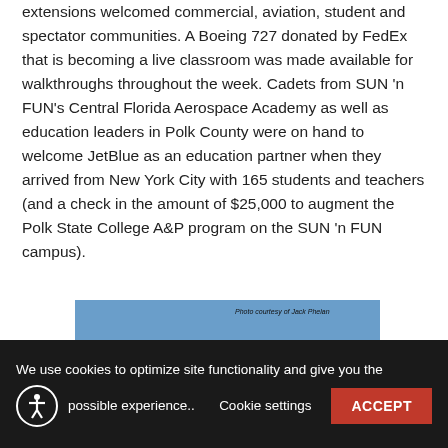extensions welcomed commercial, aviation, student and spectator communities. A Boeing 727 donated by FedEx that is becoming a live classroom was made available for walkthroughs throughout the week. Cadets from SUN 'n FUN's Central Florida Aerospace Academy as well as education leaders in Polk County were on hand to welcome JetBlue as an education partner when they arrived from New York City with 165 students and teachers (and a check in the amount of $25,000 to augment the Polk State College A&P program on the SUN 'n FUN campus).
[Figure (photo): A JetBlue aircraft on the ground, photographed from the front-left side showing the nose, cockpit windows, and JetBlue livery with the airline name on the fuselage. Photo credit: Photo courtesy of Jack Phelan.]
We use cookies to optimize site functionality and give you the possible experience.. Cookie settings ACCEPT